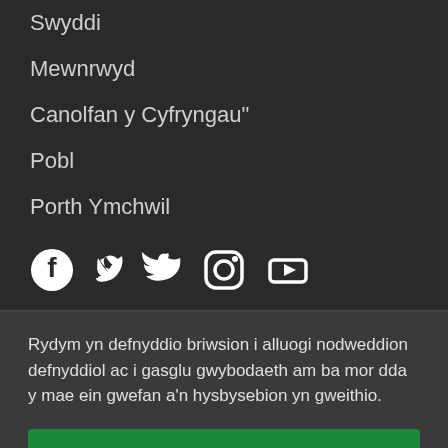Swyddi
Mewnrwyd
Canolfan y Cyfryngau"
Pobl
Porth Ymchwil
[Figure (infographic): Social media icons: Facebook, Twitter, Instagram, YouTube]
Rydym yn defnyddio briwsion i alluogi nodweddion defnyddiol ac i gasglu gwybodaeth am ba mor dda y mae ein gwefan a'n hysbysebion yn gweithio.
Caniatáu pob cwci
Rheoli eich dewisiadau briwsion